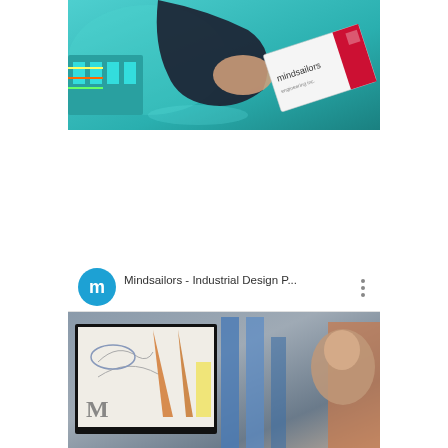[Figure (photo): Photo of a hand wearing a dark sleeve, resting on a teal surface with electronic components/wiring visible, and a Mindsailors business card tilted in the foreground]
[Figure (screenshot): Screenshot of a YouTube video card for 'Mindsailors - Industrial Design P...' with a teal circular avatar showing the letter m, three-dot menu icon, and a thumbnail showing industrial design sketches on a monitor and a person in a studio setting]